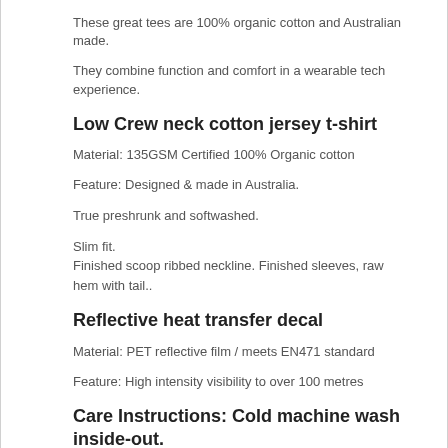These great tees are 100% organic cotton and Australian made.
They combine function and comfort in a wearable tech experience.
Low Crew neck cotton jersey t-shirt
Material: 135GSM Certified 100% Organic cotton
Feature: Designed & made in Australia.
True preshrunk and softwashed.
Slim fit.
Finished scoop ribbed neckline. Finished sleeves, raw hem with tail..
Reflective heat transfer decal
Material: PET reflective film / meets EN471 standard
Feature: High intensity visibility to over 100 metres
Care Instructions: Cold machine wash inside-out.